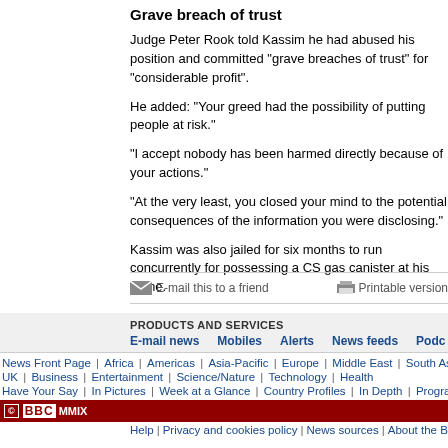Grave breach of trust
Judge Peter Rook told Kassim he had abused his position and committed "grave breaches of trust" for "considerable profit".
He added: "Your greed had the possibility of putting people at risk."
"I accept nobody has been harmed directly because of your actions."
"At the very least, you closed your mind to the potential consequences of the information you were disclosing."
Kassim was also jailed for six months to run concurrently for possessing a CS gas canister at his home.
E-mail this to a friend    Printable version
PRODUCTS AND SERVICES
E-mail news  Mobiles  Alerts  News feeds  Podc
News Front Page | Africa | Americas | Asia-Pacific | Europe | Middle East | South Asia
UK | Business | Entertainment | Science/Nature | Technology | Health
Have Your Say | In Pictures | Week at a Glance | Country Profiles | In Depth | Programmes
© BBC MMIX
Help | Privacy and cookies policy | News sources | About the B